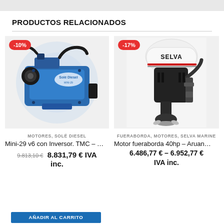PRODUCTOS RELACIONADOS
[Figure (photo): Blue marine diesel engine (Solé Diesel) with -10% discount badge]
MOTORES, SOLÉ DIESEL
Mini-29 v6 con Inversor. TMC – ...
9.813,10 €  8.831,79 € IVA inc.
[Figure (photo): SELVA outboard motor 40hp with -17% discount badge]
FUERABORDA, MOTORES, SELVA MARINE
Motor fueraborda 40hp – Aruan…
6.486,77 € – 6.952,77 € IVA inc.
AÑADIR AL CARRITO